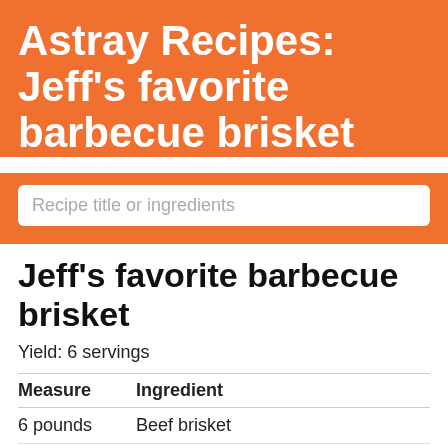Astray Recipes: Jeff's favorite barbecue brisket
[Figure (other): Search box with placeholder text 'Recipe title or ingredients']
Jeff's favorite barbecue brisket
Yield: 6 servings
| Measure | Ingredient |
| --- | --- |
| 6 pounds | Beef brisket |
| \N \N | Smoker for cooking |
| 10 pounds | Charcoal |